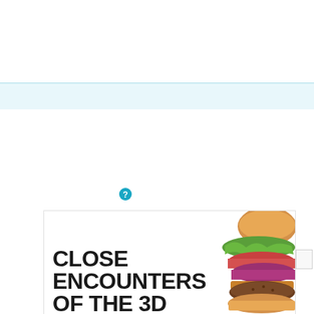[Figure (other): Light blue horizontal navigation/header bar with thin cyan border lines]
[Figure (other): Teal/cyan circular question mark help icon]
[Figure (photo): Advertisement image showing a close-up of a burger with lettuce, tomato, red onion, and a grilled patty on a bun, with bold text reading CLOSE ENCOUNTERS OF THE 3D in black capital letters on white background]